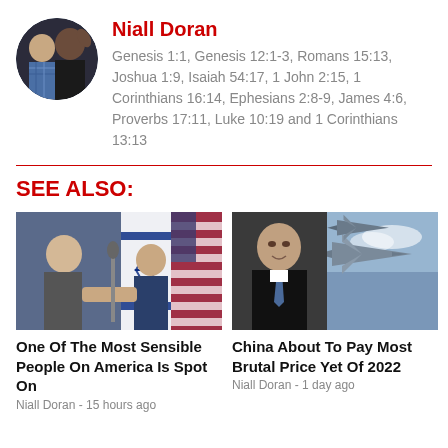[Figure (photo): Circular avatar photo of two people, one in plaid shirt and one in dark clothing]
Niall Doran
Genesis 1:1, Genesis 12:1-3, Romans 15:13, Joshua 1:9, Isaiah 54:17, 1 John 2:15, 1 Corinthians 16:14, Ephesians 2:8-9, James 4:6, Proverbs 17:11, Luke 10:19 and 1 Corinthians 13:13
SEE ALSO:
[Figure (photo): Two men in suits shaking hands in front of Israeli and American flags]
One Of The Most Sensible People On America Is Spot On
Niall Doran - 15 hours ago
[Figure (photo): Man in black suit alongside military fighter jets in the sky]
China About To Pay Most Brutal Price Yet Of 2022
Niall Doran - 1 day ago